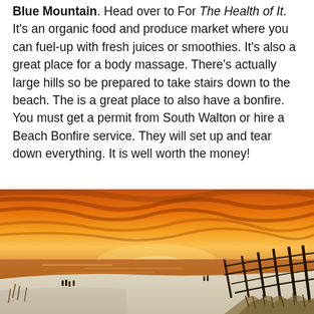Blue Mountain. Head over to For The Health of It. It's an organic food and produce market where you can fuel-up with fresh juices or smoothies. It's also a great place for a body massage. There's actually large hills so be prepared to take stairs down to the beach. The is a great place to also have a bonfire. You must get a permit from South Walton or hire a Beach Bonfire service. They will set up and tear down everything. It is well worth the money!
[Figure (photo): Beach sunset photograph showing a vibrant orange and red sky over calm water, white sand beach with sea oats and a wooden fence on the right, silhouettes of people walking along the shore.]